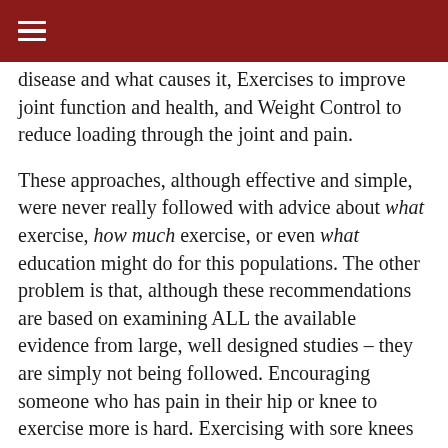☰
disease and what causes it, Exercises to improve joint function and health, and Weight Control to reduce loading through the joint and pain.
These approaches, although effective and simple, were never really followed with advice about what exercise, how much exercise, or even what education might do for this populations. The other problem is that, although these recommendations are based on examining ALL the available evidence from large, well designed studies – they are simply not being followed. Encouraging someone who has pain in their hip or knee to exercise more is hard. Exercising with sore knees and hips is hard, and uncomfortable.
Getting someone to sit down for an hour to learn